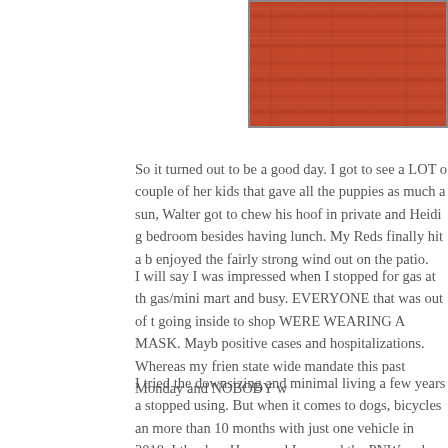[Figure (photo): Partial view of a red/rust-colored textured fabric or carpet surface, cropped at the top-right of the page with a thin border.]
So it turned out to be a good day. I got to see a LOT o couple of her kids that gave all the puppies as much a sun, Walter got to chew his hoof in private and Heidi g bedroom besides having lunch. My Reds finally hit a b enjoyed the fairly strong wind out on the patio.
I will say I was impressed when I stopped for gas at th gas/mini mart and busy. EVERYONE that was out of t going inside to shop WERE WEARING A MASK. Mayb positive cases and hospitalizations. Whereas my frien state wide mandate this past Monday and NOBODY w
I tried the downsizing and minimal living a few years a stopped using. But when it comes to dogs, bicycles an more than 10 months with just one vehicle in 2018. I th when Harry and I roamed the PNW and Colorado bef